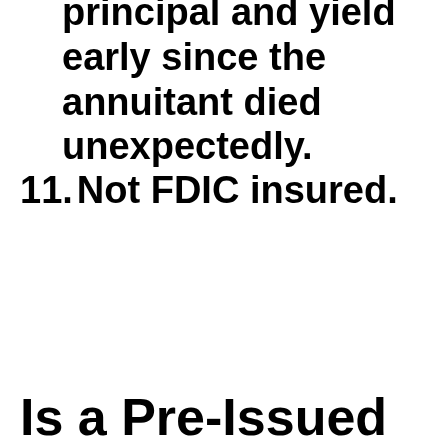principal and yield early since the annuitant died unexpectedly.
11. Not FDIC insured.
Is a Pre-Issued